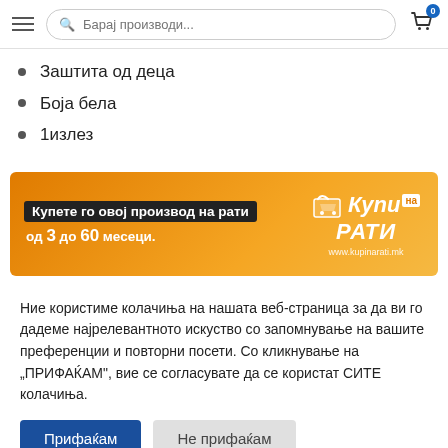Барај производи...
Заштита од деца
Боја бела
1излез
[Figure (infographic): Orange promotional banner: 'Купете го овој производ на рати од 3 до 60 месеци.' with Купи на РАТИ logo and www.kupinarati.mk]
Ние користиме колачиња на нашата веб-страница за да ви го дадеме најрелевантното искуство со запомнување на вашите преференции и повторни посети. Со кликнување на „ПРИФАЌАМ", вие се согласувате да се користат СИТЕ колачиња.
Прифаќам   Не прифаќам